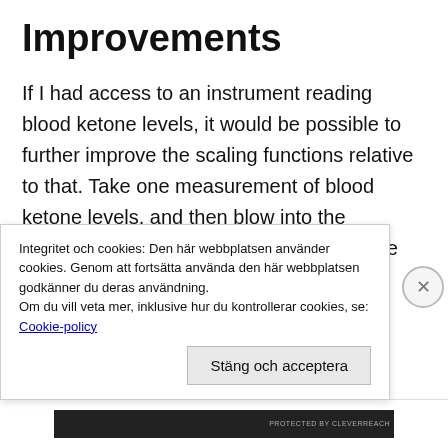Improvements
If I had access to an instrument reading blood ketone levels, it would be possible to further improve the scaling functions relative to that. Take one measurement of blood ketone levels, and then blow into the Ketosense and write down the raw voltage from the TGS822 rather than the scaled value. Do this for a couple of diff...
Integritet och cookies: Den här webbplatsen använder cookies. Genom att fortsätta använda den här webbplatsen godkänner du deras användning.
Om du vill veta mer, inklusive hur du kontrollerar cookies, se:
Cookie-policy
Stäng och acceptera